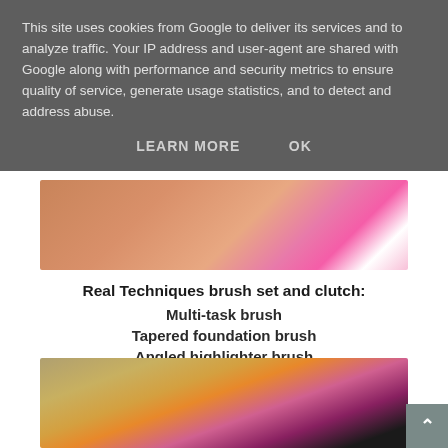This site uses cookies from Google to deliver its services and to analyze traffic. Your IP address and user-agent are shared with Google along with performance and security metrics to ensure quality of service, generate usage statistics, and to detect and address abuse.
LEARN MORE   OK
[Figure (photo): Partial view of makeup products including what appears to be pink/white swirled makeup and a small compact, on a tan/brown background.]
Real Techniques brush set and clutch:
Multi-task brush
Tapered foundation brush
Angled highlighter brush
Base shadow brush
Fine liner brush
[Figure (photo): Close-up of Real Techniques makeup brushes with metallic pink/orange and gold handles against a light background.]